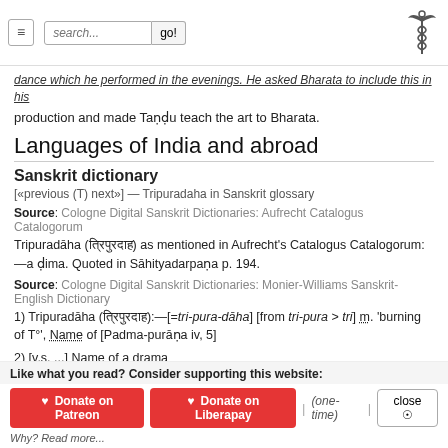search... go!
dance which he performed in the evenings. He asked Bharata to include this in his production and made Taṇḍu teach the art to Bharata.
Languages of India and abroad
Sanskrit dictionary
[«previous (T) next»] — Tripuradaha in Sanskrit glossary
Source: Cologne Digital Sanskrit Dictionaries: Aufrecht Catalogus Catalogorum
Tripuradāha (त्रिपुरदाह) as mentioned in Aufrecht's Catalogus Catalogorum:—a ḍima. Quoted in Sāhityadarpaṇa p. 194.
Source: Cologne Digital Sanskrit Dictionaries: Monier-Williams Sanskrit-English Dictionary
1) Tripuradāha (त्रिपुरदाह):—[=tri-pura-dāha] [from tri-pura > tri] m. 'burning of T°', Name of [Padma-purāṇa iv, 5]
2) [v.s. ...] Name of a drama
Like what you read? Consider supporting this website:
♥ Donate on Patreon  ♥ Donate on Liberapay  | (one-time) |  close ⊗
Why? Read more...